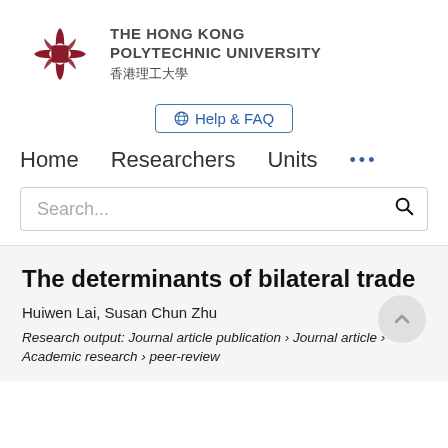[Figure (logo): The Hong Kong Polytechnic University logo with red knot emblem and bilingual name in English and Chinese]
Help & FAQ
Home   Researchers   Units   …
Search...
The determinants of bilateral trade
Huiwen Lai, Susan Chun Zhu
Research output: Journal article publication › Journal article › Academic research › peer-review